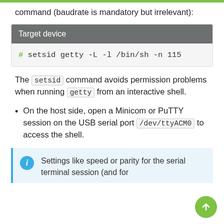command (baudrate is mandatory but irrelevant):
Target device
# setsid getty -L -l /bin/sh -n 115
The setsid command avoids permission problems when running getty from an interactive shell.
On the host side, open a Minicom or PuTTY session on the USB serial port /dev/ttyACM0 to access the shell.
Settings like speed or parity for the serial terminal session (and for